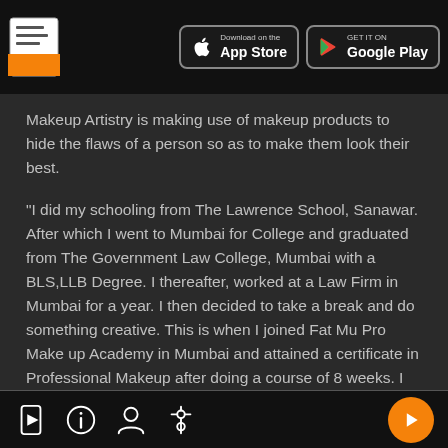App Store / Google Play header bar with document icon
Makeup Artistry is making use of makeup products to hide the flaws of a person so as to make them look their best.
"I did my schooling from The Lawrence School, Sanawar. After which I went to Mumbai for College and graduated from The Government Law College, Mumbai with a BLS,LLB Degree. I thereafter, worked at a Law Firm in Mumbai for a year. I then decided to take a break and do something creative. This is when I joined Fat Mu Pro Make up Academy in Mumbai and attained a certificate in Professional Makeup after doing a course of 8 weeks. I have been working as a Freelancer since."
Bottom navigation bar with icons and play button